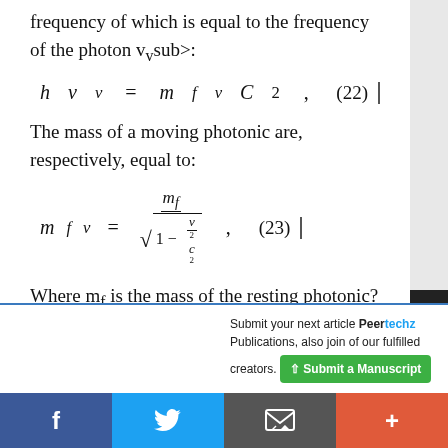frequency of which is equal to the frequency of the photon ν_v sub>:
The mass of a moving photonic are, respectively, equal to:
Where m_f is the mass of the resting photonic?
Submit your next article Peertechz Publications, also join of our fulfilled creators. ↑ Submit a Manuscript